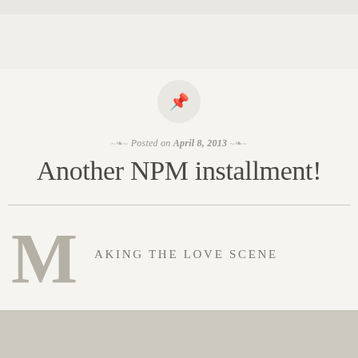[Figure (illustration): Pin/thumbtack icon inside a light gray circle]
Posted on April 8, 2013
Another NPM installment!
Making the Love Scene
[Figure (photo): Gray image area at the bottom of the page]